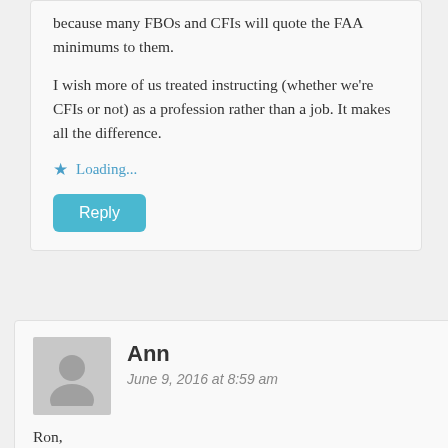because many FBOs and CFIs will quote the FAA minimums to them.
I wish more of us treated instructing (whether we're CFIs or not) as a profession rather than a job. It makes all the difference.
★ Loading...
Reply
Ann
June 9, 2016 at 8:59 am
Ron,
Thank you for another thought